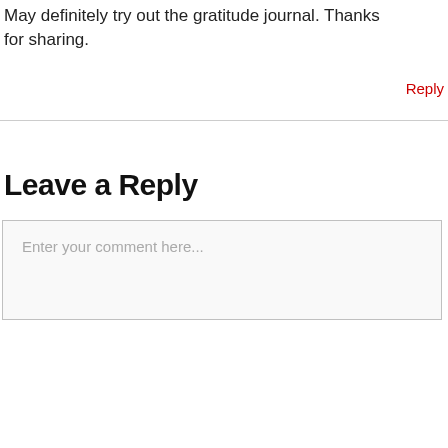May definitely try out the gratitude journal. Thanks for sharing.
Reply
Leave a Reply
Enter your comment here...